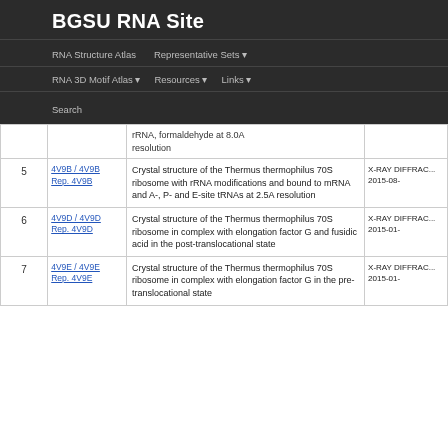BGSU RNA Site
RNA Structure Atlas | Representative Sets | RNA 3D Motif Atlas | Resources | Links | Search
| # | PDB/Description | Description | Meta |
| --- | --- | --- | --- |
|  |  | ...rRNA, formaldehyde at 8.0A resolution |  |
| 5 | 4V9B / 4V9B
Rep. 4V9B | Crystal structure of the Thermus thermophilus 70S ribosome with rRNA modifications and bound to mRNA and A-, P- and E-site tRNAs at 2.5A resolution | X-RAY DIFFRAC... 2015-08- |
| 6 | 4V9D / 4V9D
Rep. 4V9D | Crystal structure of the Thermus thermophilus 70S ribosome in complex with elongation factor G and fusidic acid in the post-translocational state | X-RAY DIFFRAC... 2015-01- |
| 7 | 4V9E / 4V9E
Rep. 4V9E | Crystal structure of the Thermus thermophilus 70S ribosome in complex with elongation factor G in the pre-translocational state | X-RAY DIFFRAC... 2015-01- |